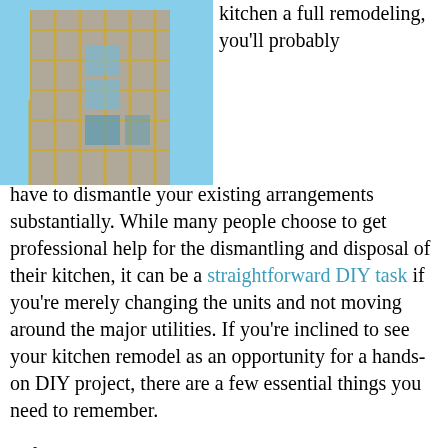[Figure (photo): Construction photo showing a tall building under construction with scaffolding and a crane against a blue sky.]
kitchen a full remodeling, you'll probably have to dismantle your existing arrangements substantially. While many people choose to get professional help for the dismantling and disposal of their kitchen, it can be a straightforward DIY task if you're merely changing the units and not moving around the major utilities. If you're inclined to see your kitchen remodel as an opportunity for a hands-on DIY project, there are a few essential things you need to remember.
Safety is an all-important concern, and you'll need to make sure your work environment is as safe as possible before you start dismantling. First of all, ensure that all circuits to the kitchen area are turned off. Tape down the breakers to ensure they don't inadvertently get turned back on. If it's not clear which circuits go to which area on your fuse box